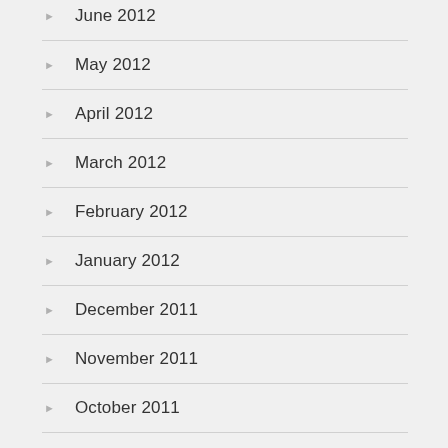June 2012
May 2012
April 2012
March 2012
February 2012
January 2012
December 2011
November 2011
October 2011
September 2011
August 2011
July 2011